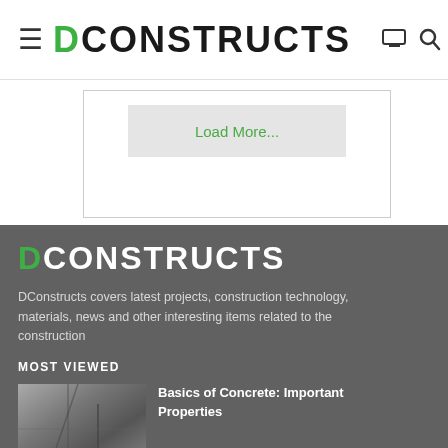DCONSTRUCTS
Load More...
DCONSTRUCTS
DConstructs covers latest projects, construction technology, materials, news and other interesting items related to the construction
MOST VIEWED
Basics of Concrete: Important Properties